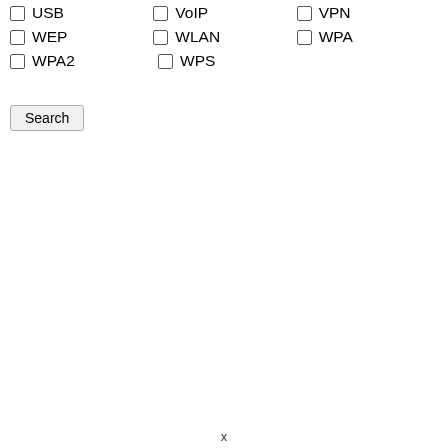□ USB
□ VoIP
□ VPN
□ WEP
□ WLAN
□ WPA
□ WPA2
□ WPS
Search
x